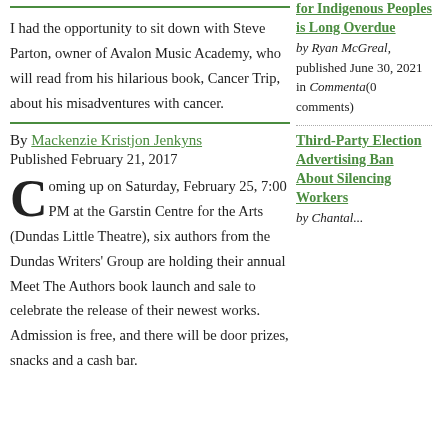I had the opportunity to sit down with Steve Parton, owner of Avalon Music Academy, who will read from his hilarious book, Cancer Trip, about his misadventures with cancer.
By Mackenzie Kristjon Jenkyns
Published February 21, 2017
Coming up on Saturday, February 25, 7:00 PM at the Garstin Centre for the Arts (Dundas Little Theatre), six authors from the Dundas Writers' Group are holding their annual Meet The Authors book launch and sale to celebrate the release of their newest works. Admission is free, and there will be door prizes, snacks and a cash bar.
for Indigenous Peoples is Long Overdue by Ryan McGreal, published June 30, 2021 in Commentary (0 comments)
Third-Party Election Advertising Ban About Silencing Workers by Chantal...